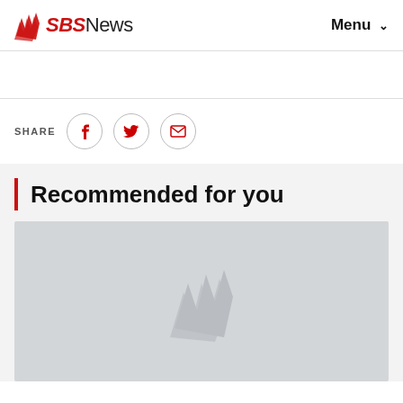SBS News  Menu
[Figure (other): Social share bar with Facebook, Twitter, and Email icon buttons]
Recommended for you
[Figure (other): Gray placeholder image card with faded SBS logo watermark]